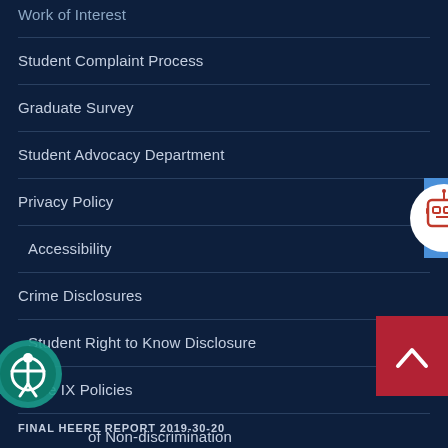Work of Interest
Student Complaint Process
Graduate Survey
Student Advocacy Department
Privacy Policy
Accessibility
Crime Disclosures
Student Right to Know Disclosure
Title IX Policies
Notice of Non-discrimination
[Figure (illustration): Robot chat button icon — white circle with orange robot face, on a blue background tab, positioned at right edge]
[Figure (illustration): Back to top button — red square with white upward chevron arrow]
[Figure (illustration): Accessibility icon — teal circle with human figure inside]
FINAL HEERE REPORT 2019-30-20